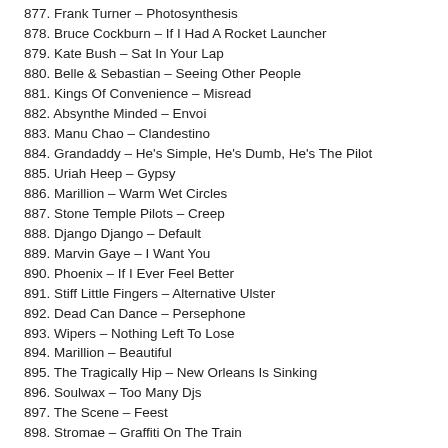877. Frank Turner – Photosynthesis
878. Bruce Cockburn – If I Had A Rocket Launcher
879. Kate Bush – Sat In Your Lap
880. Belle & Sebastian – Seeing Other People
881. Kings Of Convenience – Misread
882. Absynthe Minded – Envoi
883. Manu Chao – Clandestino
884. Grandaddy – He's Simple, He's Dumb, He's The Pilot
885. Uriah Heep – Gypsy
886. Marillion – Warm Wet Circles
887. Stone Temple Pilots – Creep
888. Django Django – Default
889. Marvin Gaye – I Want You
890. Phoenix – If I Ever Feel Better
891. Stiff Little Fingers – Alternative Ulster
892. Dead Can Dance – Persephone
893. Wipers – Nothing Left To Lose
894. Marillion – Beautiful
895. The Tragically Hip – New Orleans Is Sinking
896. Soulwax – Too Many Djs
897. The Scene – Feest
898. Stromae – Graffiti On The Train